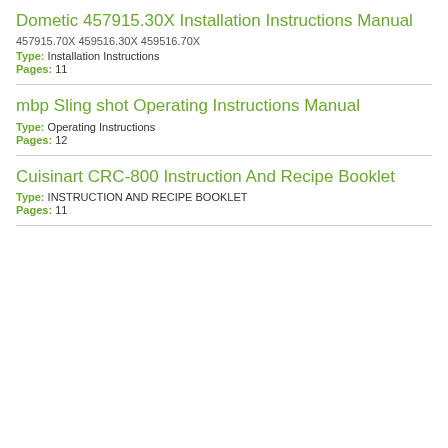Dometic 457915.30X Installation Instructions Manual
457915.70X 459516.30X 459516.70X
Type: Installation Instructions
Pages: 11
mbp Sling shot Operating Instructions Manual
Type: Operating Instructions
Pages: 12
Cuisinart CRC-800 Instruction And Recipe Booklet
Type: INSTRUCTION AND RECIPE BOOKLET
Pages: 11